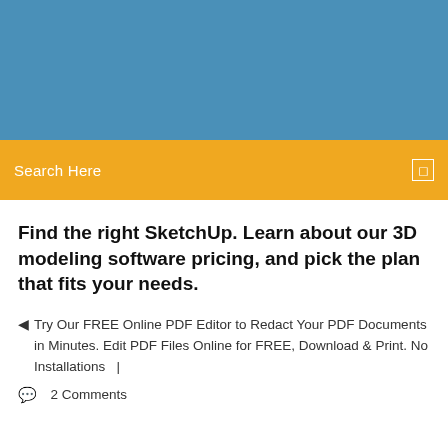[Figure (other): Blue banner/header image area at top of webpage]
Search Here
Find the right SketchUp. Learn about our 3D modeling software pricing, and pick the plan that fits your needs.
Try Our FREE Online PDF Editor to Redact Your PDF Documents in Minutes. Edit PDF Files Online for FREE, Download & Print. No Installations   |
2 Comments